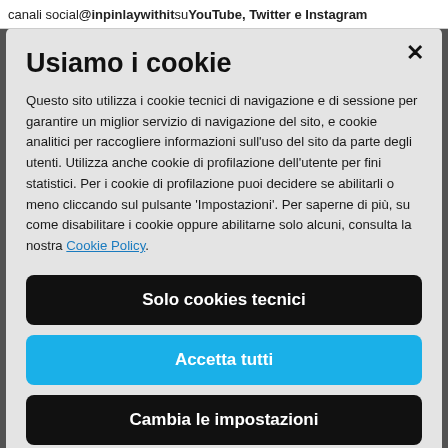canali social @inpinlaywithit su YouTube, Twitter e Instagram
Usiamo i cookie
Questo sito utilizza i cookie tecnici di navigazione e di sessione per garantire un miglior servizio di navigazione del sito, e cookie analitici per raccogliere informazioni sull'uso del sito da parte degli utenti. Utilizza anche cookie di profilazione dell'utente per fini statistici. Per i cookie di profilazione puoi decidere se abilitarli o meno cliccando sul pulsante 'Impostazioni'. Per saperne di più, su come disabilitare i cookie oppure abilitarne solo alcuni, consulta la nostra Cookie Policy.
Solo cookies tecnici
Accetta tutti
Cambia le impostazioni